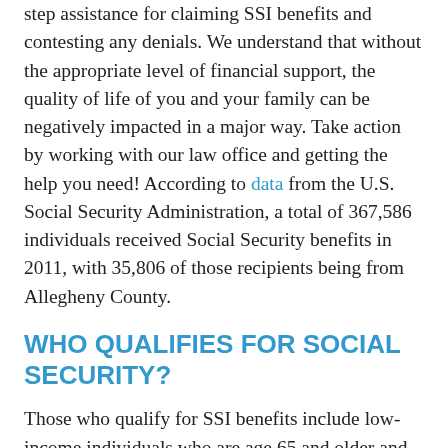step assistance for claiming SSI benefits and contesting any denials. We understand that without the appropriate level of financial support, the quality of life of you and your family can be negatively impacted in a major way. Take action by working with our law office and getting the help you need! According to data from the U.S. Social Security Administration, a total of 367,586 individuals received Social Security benefits in 2011, with 35,806 of those recipients being from Allegheny County.
WHO QUALIFIES FOR SOCIAL SECURITY?
Those who qualify for SSI benefits include low-income individuals who are age 65 and older and low-income individuals of all ages who are blind or disabled. If you qualify, you can start receiving payment each month